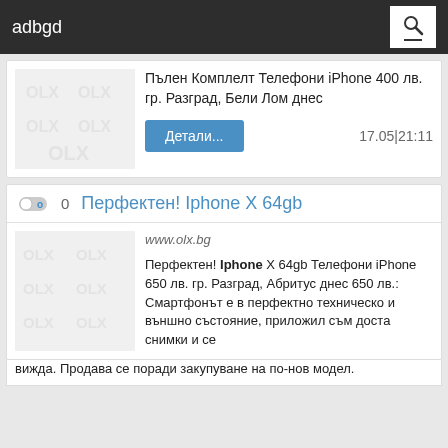adbgd
Пълен Комплелт Телефони iPhone 400 лв. гр. Разград, Бели Лом днес
Детали... 17.05|21:11
Перфектен! Iphone X 64gb
www.olx.bg
Перфектен! Iphone X 64gb Телефони iPhone 650 лв. гр. Разград, Абритус днес 650 лв.: Смартфонът е в перфектно техническо и външно състояние, приложил съм доста снимки и се вижда. Продава се поради закупуване на по-нов модел.